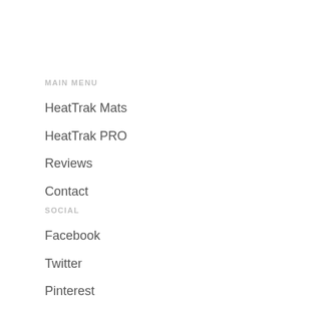MAIN MENU
HeatTrak Mats
HeatTrak PRO
Reviews
Contact
SOCIAL
Facebook
Twitter
Pinterest
Instagram